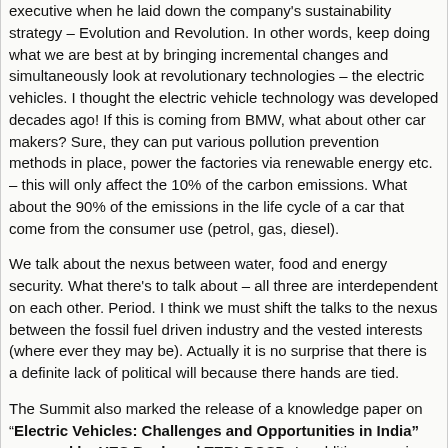executive when he laid down the company's sustainability strategy – Evolution and Revolution. In other words, keep doing what we are best at by bringing incremental changes and simultaneously look at revolutionary technologies – the electric vehicles. I thought the electric vehicle technology was developed decades ago! If this is coming from BMW, what about other car makers? Sure, they can put various pollution prevention methods in place, power the factories via renewable energy etc. – this will only affect the 10% of the carbon emissions. What about the 90% of the emissions in the life cycle of a car that come from the consumer use (petrol, gas, diesel).
We talk about the nexus between water, food and energy security. What there's to talk about – all three are interdependent on each other. Period. I think we must shift the talks to the nexus between the fossil fuel driven industry and the vested interests (where ever they may be). Actually it is no surprise that there is a definite lack of political will because there hands are tied.
The Summit also marked the release of a knowledge paper on "Electric Vehicles: Challenges and Opportunities in India" prepared by YES Bank and TERI-BCSD. In addition, a major report titled "Sustainability Practices and Reporting Trends in India for the Power Sector"– documented by Thought Arbitrage Research Institute (TARI) and TERI– was also launched in the presence of the dignitaries. The key papers provide a roadmap for fast-tracking business action in the crucial economic sectors, such as power and transport.